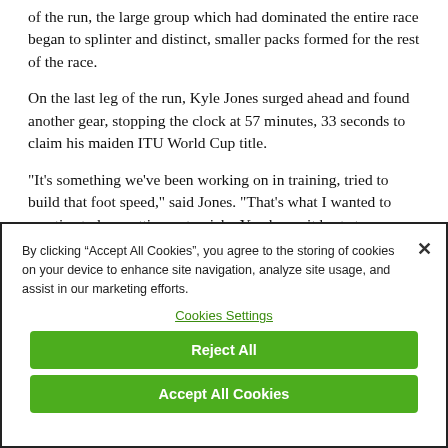of the run, the large group which had dominated the entire race began to splinter and distinct, smaller packs formed for the rest of the race.
On the last leg of the run, Kyle Jones surged ahead and found another gear, stopping the clock at 57 minutes, 33 seconds to claim his maiden ITU World Cup title.
“It’s something we’ve been working on in training, tried to build that foot speed,” said Jones. “That’s what I wanted to practice today: getting out quick.  You know it hurts to race like that, put
By clicking “Accept All Cookies”, you agree to the storing of cookies on your device to enhance site navigation, analyze site usage, and assist in our marketing efforts.
Cookies Settings
Reject All
Accept All Cookies